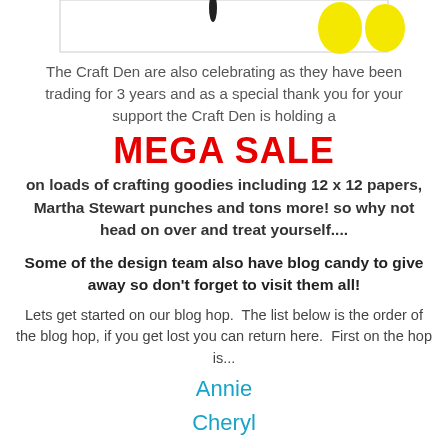[Figure (illustration): Partial top image showing decorative elements with yellow shapes on white background with a border]
The Craft Den are also celebrating as they have been trading for 3 years and as a special thank you for your support the Craft Den is holding a
MEGA SALE
on loads of crafting goodies including 12 x 12 papers, Martha Stewart punches and tons more! so why not head on over and treat yourself....
Some of the design team also have blog candy to give away so don't forget to visit them all!
Lets get started on our blog hop.  The list below is the order of the blog hop, if you get lost you can return here.  First on the hop is...
Annie
Cheryl
Deb
Katy
Kathryn